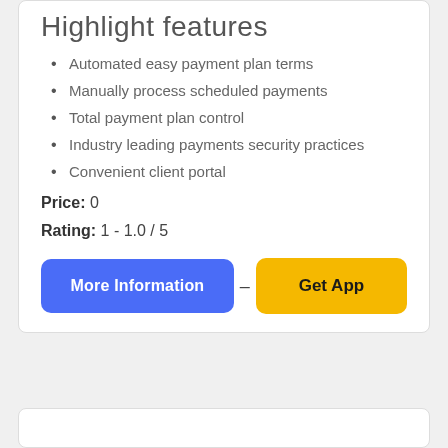Highlight features
Automated easy payment plan terms
Manually process scheduled payments
Total payment plan control
Industry leading payments security practices
Convenient client portal
Price: 0
Rating: 1 - 1.0 / 5
More Information – Get App